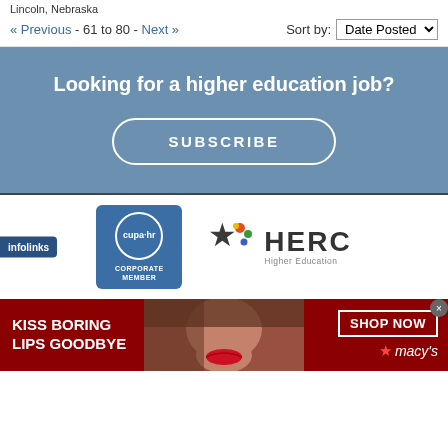Lincoln, Nebraska
« Previous - 61 to 80 - Next »     Sort by: Date Posted
[Figure (infographic): Blue promotional banner with text 'Looking for a higher education job?' and a SUBSCRIBE button in rounded rectangle outline]
[Figure (logo): CUPA-HR Corporate Member badge (blue square with rounded corners) and HERC Higher Education Recruitment Consortium logo side by side, with infolinks badge on left]
[Figure (infographic): Macy's advertisement: dark red banner with 'KISS BORING LIPS GOODBYE' text on left, woman's face in center, 'SHOP NOW' button and Macy's logo with star on right, close X button top right]